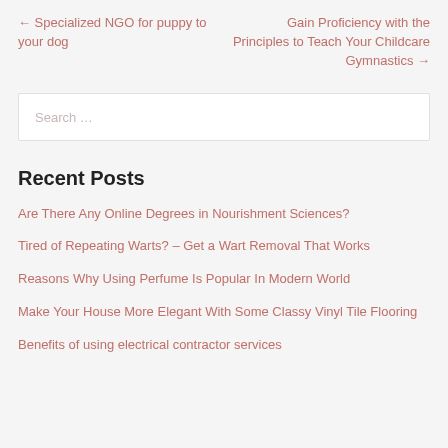← Specialized NGO for puppy to your dog
Gain Proficiency with the Principles to Teach Your Childcare Gymnastics →
Search …
Recent Posts
Are There Any Online Degrees in Nourishment Sciences?
Tired of Repeating Warts? – Get a Wart Removal That Works
Reasons Why Using Perfume Is Popular In Modern World
Make Your House More Elegant With Some Classy Vinyl Tile Flooring
Benefits of using electrical contractor services